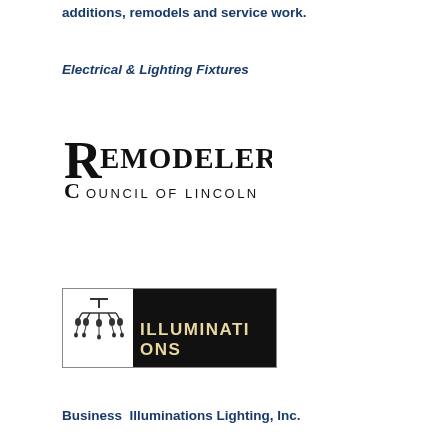additions, remodels and service work.
Electrical & Lighting Fixtures
[Figure (logo): Remodelers Council of Lincoln logo — black text with stylized large R and C]
[Figure (logo): Illuminations lighting store logo — black background with chandelier icon and ILLUMINATIONS text in white/gold]
Business  Illuminations Lighting, Inc.